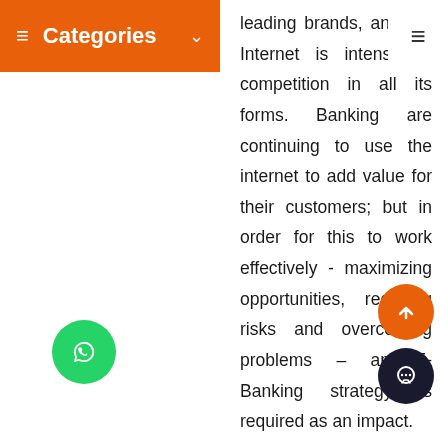Categories
leading brands, and the Internet is intensifying competition in all its forms. Banking are continuing to use the internet to add value for their customers; but in order for this to work effectively - maximizing opportunities, reducing risks and overcoming problems – an E-Banking strategy is required as an impact.
The growth of the Web and